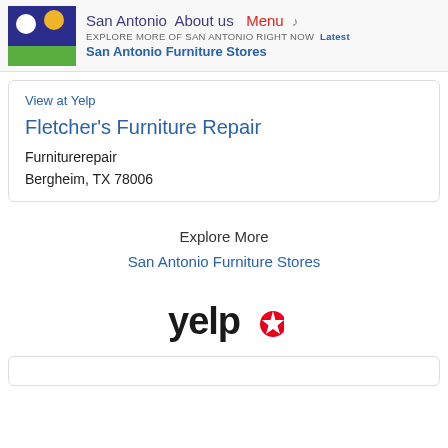San Antonio  About us  Menu ♪
EXPLORE MORE OF SAN ANTONIO RIGHT NOW  Latest
San Antonio Furniture Stores
View at Yelp
Fletcher's Furniture Repair
Furniturerepair
Bergheim, TX 78006
Explore More
San Antonio Furniture Stores
[Figure (logo): Yelp logo — black 'yelp' text with red asterisk/burst icon]